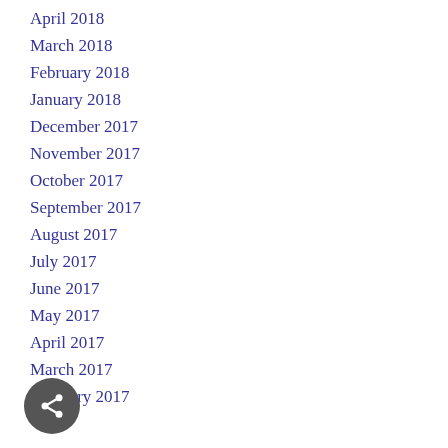April 2018
March 2018
February 2018
January 2018
December 2017
November 2017
October 2017
September 2017
August 2017
July 2017
June 2017
May 2017
April 2017
March 2017
February 2017